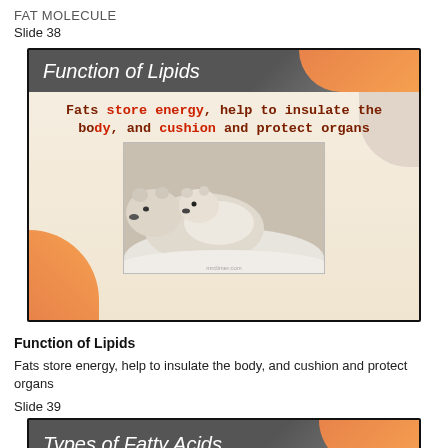FAT MOLECULE
Slide 38
[Figure (screenshot): Slide screenshot titled 'Function of Lipids' with dark gray header, orange accent, and text: 'Fats store energy, help to insulate the body, and cushion and protect organs' with a photo of polar bear and cub.]
Function of Lipids
Fats store energy, help to insulate the body, and cushion and protect organs
Slide 39
[Figure (screenshot): Partially visible slide screenshot with dark gray header and orange accent, titled 'Types of Fatty Acids'.]